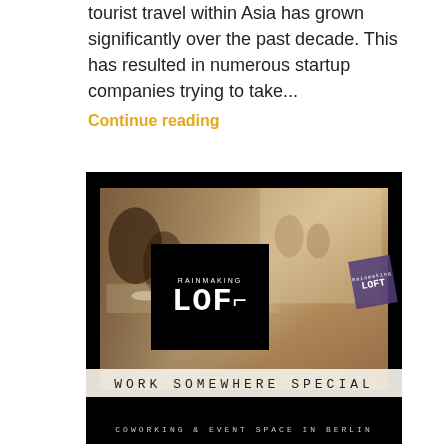tourist travel within Asia has grown significantly over the past decade. This has resulted in numerous startup companies trying to take...
Continue reading
[Figure (photo): Rainmaking Loft promotional image showing people at a long table in a bright space, with a black logo box displaying 'RAINMAKING LOFT' text, a banner reading 'WORK SOMEWHERE SPECIAL', and footer text 'COWORKING & EVENT SPACE IN BERLIN']